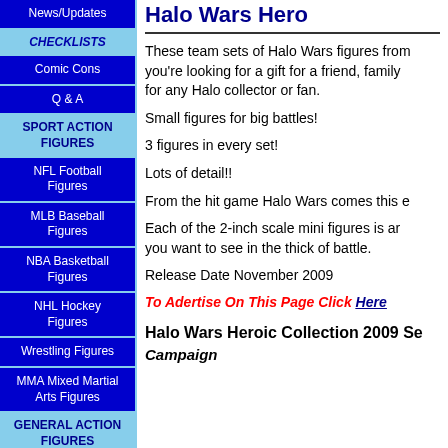News/Updates
CHECKLISTS
Comic Cons
Q & A
SPORT ACTION FIGURES
NFL Football Figures
MLB Baseball Figures
NBA Basketball Figures
NHL Hockey Figures
Wrestling Figures
MMA Mixed Martial Arts Figures
GENERAL ACTION FIGURES
GI JOE Figures
TRANSFORMERS Figures
HALO
Halo Wars Hero...
These team sets of Halo Wars figures from you're looking for a gift for a friend, family for any Halo collector or fan.
Small figures for big battles!
3 figures in every set!
Lots of detail!!
From the hit game Halo Wars comes this e
Each of the 2-inch scale mini figures is ar you want to see in the thick of battle.
Release Date November 2009
To Adertise On This Page Click Here
Halo Wars Heroic Collection 2009 Se
Campaign